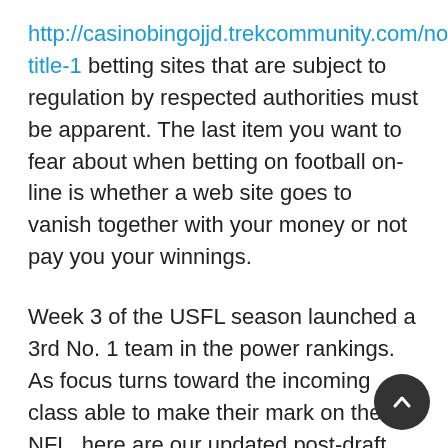http://casinobingojjd.trekcommunity.com/no-title-1 betting sites that are subject to regulation by respected authorities must be apparent. The last item you want to fear about when betting on football on-line is whether a web site goes to vanish together with your money or not pay you your winnings.
Week 3 of the USFL season launched a 3rd No. 1 team in the power rankings. As focus turns toward the incoming class able to make their mark on the NFL, here are our updated post-draft 2022 dynasty rookie rankings. Pro Football Network's Premier NFL Draft Podcast supplies